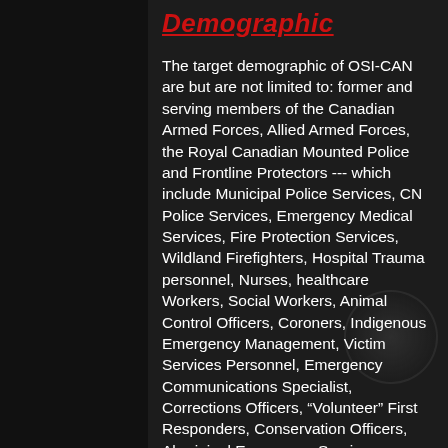Demographic
The target demographic of OSI-CAN are but are not limited to: former and serving members of the Canadian Armed Forces, Allied Armed Forces, the Royal Canadian Mounted Police and Frontline Protectors --- which include Municipal Police Services, CN Police Services, Emergency Medical Services, Fire Protection Services, Wildland Firefighters, Hospital Trauma personnel, Nurses, healthcare Workers, Social Workers, Animal Control Officers, Coroners, Indigenous Emergency Management, Victim Services Personnel, Emergency Communications Specialist, Corrections Officers, “Volunteer” First Responders, Conservation Officers, Aboriginal Emergency Services personnel, Tow Truck drivers who